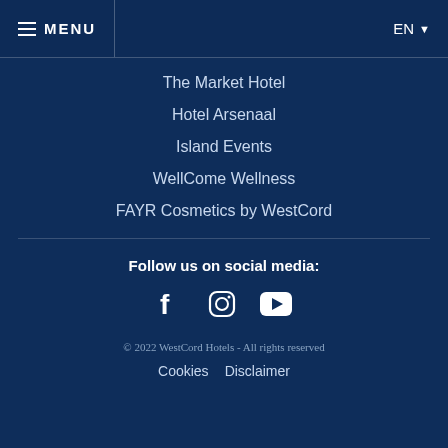≡ MENU  EN ∨
The Market Hotel
Hotel Arsenaal
Island Events
WellCome Wellness
FAYR Cosmetics by WestCord
Follow us on social media:
[Figure (other): Social media icons: Facebook, Instagram, YouTube]
© 2022 WestCord Hotels - All rights reserved
Cookies  Disclaimer